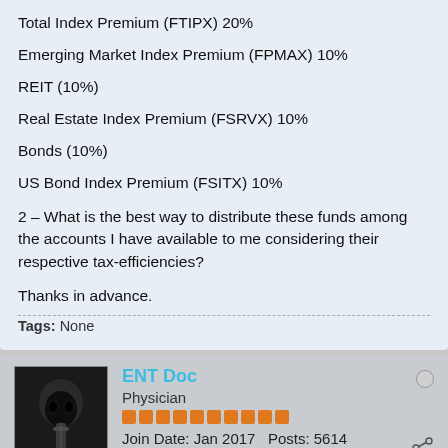Total Index Premium (FTIPX) 20%
Emerging Market Index Premium (FPMAX) 10%
REIT (10%)
Real Estate Index Premium (FSRVX) 10%
Bonds (10%)
US Bond Index Premium (FSITX) 10%
2 – What is the best way to distribute these funds among the accounts I have available to me considering their respective tax-efficiencies?
Thanks in advance.
Tags: None
ENT Doc
Physician
Join Date: Jan 2017  Posts: 5614